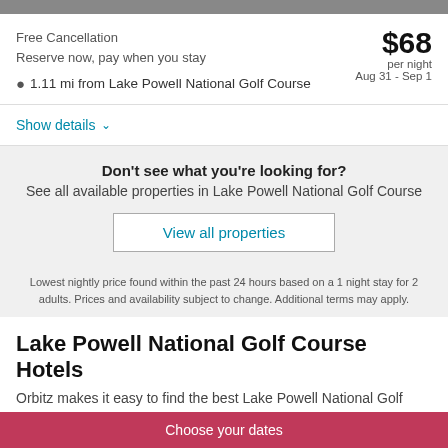Free Cancellation
Reserve now, pay when you stay
$68 per night
Aug 31 - Sep 1
1.11 mi from Lake Powell National Golf Course
Show details
Don't see what you're looking for?
See all available properties in Lake Powell National Golf Course
View all properties
Lowest nightly price found within the past 24 hours based on a 1 night stay for 2 adults. Prices and availability subject to change. Additional terms may apply.
Lake Powell National Golf Course Hotels
Orbitz makes it easy to find the best Lake Powell National Golf
Choose your dates